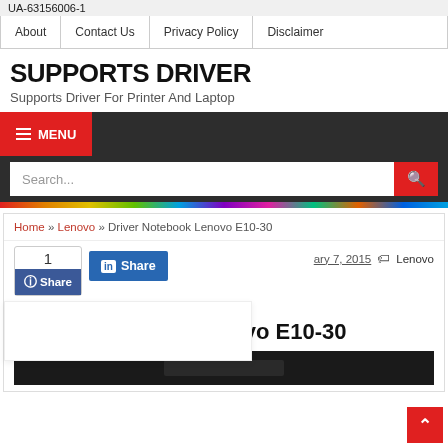UA-63156006-1
| About | Contact Us | Privacy Policy | Disclaimer |
| --- | --- | --- | --- |
SUPPORTS DRIVER
Supports Driver For Printer And Laptop
≡ MENU
Search...
Home » Lenovo » Driver Notebook Lenovo E10-30
1
Share
Share
January 7, 2015
Lenovo
Driver Notebook Lenovo E10-30